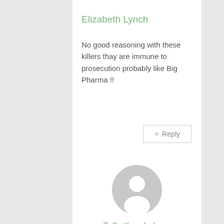Elizabeth Lynch
No good reasoning with these killers thay are immune to prosecution probably like Big Pharma !!
[Figure (other): Generic user avatar placeholder - gray circle with white silhouette of a person]
Toffo Kueabaloow